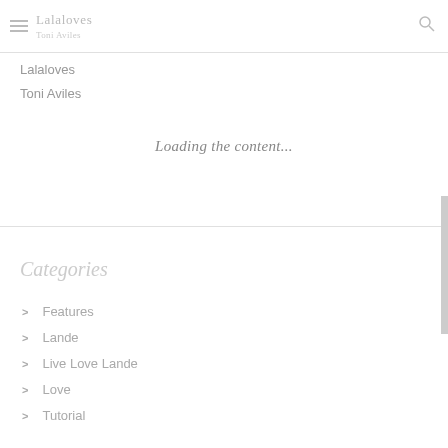Lalaloves Toni Aviles
Lalaloves
Toni Aviles
Loading the content...
Categories
> Features
> Lande
> Live Love Lande
> Love
> Tutorial